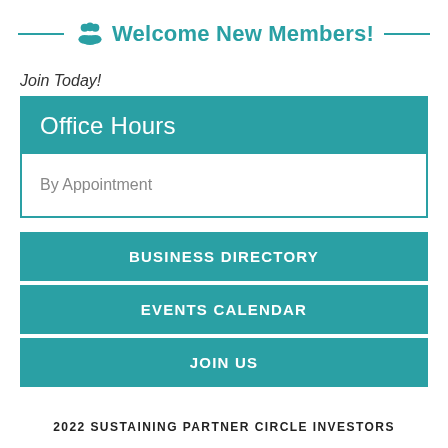Welcome New Members!
Join Today!
Office Hours
By Appointment
BUSINESS DIRECTORY
EVENTS CALENDAR
JOIN US
2022 SUSTAINING PARTNER CIRCLE INVESTORS